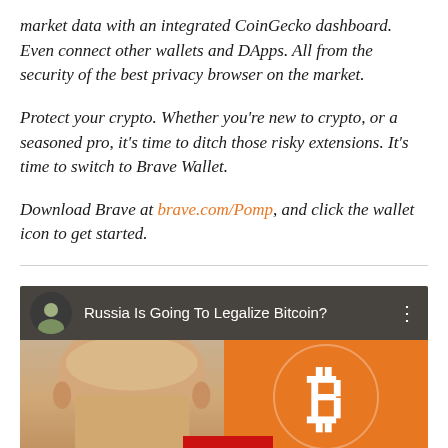market data with an integrated CoinGecko dashboard. Even connect other wallets and DApps. All from the security of the best privacy browser on the market.
Protect your crypto. Whether you're new to crypto, or a seasoned pro, it's time to ditch those risky extensions. It's time to switch to Brave Wallet.
Download Brave at brave.com/Pomp, and click the wallet icon to get started.
[Figure (screenshot): YouTube video thumbnail with title 'Russia Is Going To Legalize Bitcoin?' showing a man's face and a Bitcoin logo on an orange background, with a circular avatar of a young man in the top left corner.]